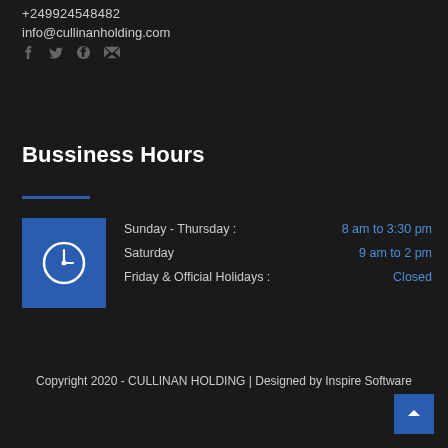+249924548482
info@cullinanholding.com
[Figure (infographic): Social media icons: Facebook, Twitter, RSS, Google+, Email]
Bussiness Hours
[Figure (infographic): Blue square with clock icon indicating business hours, alongside schedule: Sunday - Thursday: 8 am to 3:30 pm, Saturday: 9 am to 2 pm, Friday & Official Holidays: Closed]
Copyright 2020 - CULLINAN HOLDING | Designed by Inspire Software